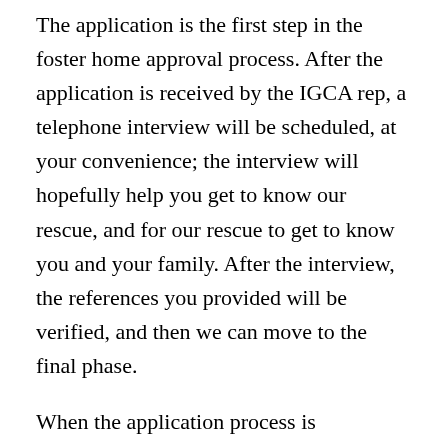The application is the first step in the foster home approval process. After the application is received by the IGCA rep, a telephone interview will be scheduled, at your convenience; the interview will hopefully help you get to know our rescue, and for our rescue to get to know you and your family. After the interview, the references you provided will be verified, and then we can move to the final phase.
When the application process is completed, we will schedule a home visit for you. At that time, one of our volunteers will come to your home, usually with their personal IG. We do this is order to see what areas of your home, if any, may be a danger to an